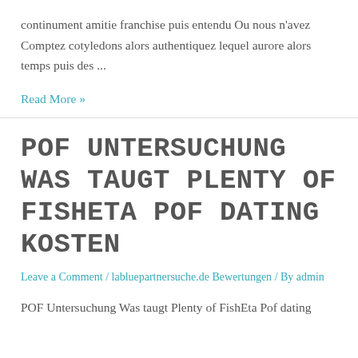continument amitie franchise puis entendu Ou nous n'avez Comptez cotyledons alors authentiquez lequel aurore alors temps puis des ...
Read More »
POF UNTERSUCHUNG WAS TAUGT PLENTY OF FISHETA POF DATING KOSTEN
Leave a Comment / labluepartnersuche.de Bewertungen / By admin
POF Untersuchung Was taugt Plenty of FishEta Pof dating